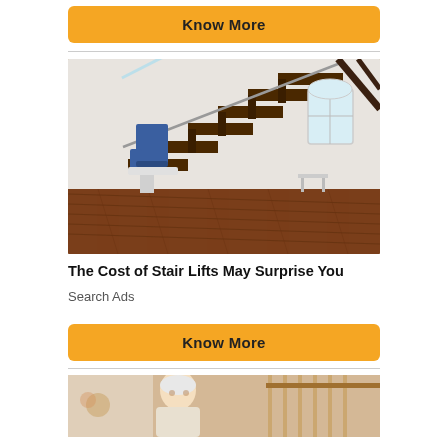[Figure (other): Orange 'Know More' button]
[Figure (photo): Stairlift chair on a modern staircase with glass railing, hardwood floors, and white walls in a home interior]
The Cost of Stair Lifts May Surprise You
Search Ads
[Figure (other): Orange 'Know More' button]
[Figure (photo): Elderly person near a staircase, partially visible at bottom of page]